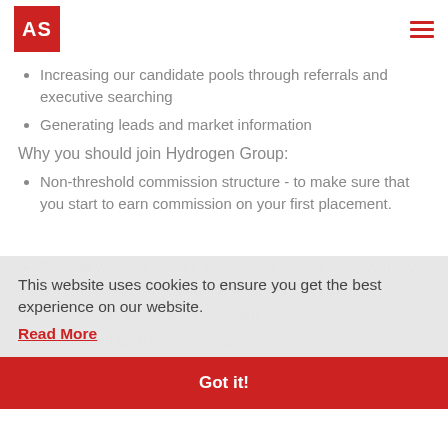AS logo and hamburger menu
Increasing our candidate pools through referrals and executive searching
Generating leads and market information
Why you should join Hydrogen Group:
Non-threshold commission structure - to make sure that you start to earn commission on your first placement.
Flexible working for ALL employees throughout (Own my time initiative (we through outs before COVID).
Medical, dental & vision coverage
Subsidised gym memberships.
Excellent career pathways to ensure you're the master of your career with clear
This website uses cookies to ensure you get the best experience on our website.
Read More
Got it!